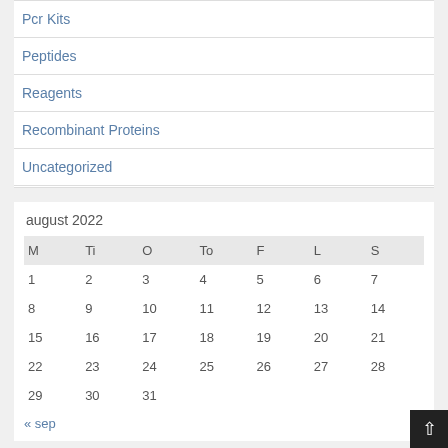Pcr Kits
Peptides
Reagents
Recombinant Proteins
Uncategorized
| M | Ti | O | To | F | L | S |
| --- | --- | --- | --- | --- | --- | --- |
| 1 | 2 | 3 | 4 | 5 | 6 | 7 |
| 8 | 9 | 10 | 11 | 12 | 13 | 14 |
| 15 | 16 | 17 | 18 | 19 | 20 | 21 |
| 22 | 23 | 24 | 25 | 26 | 27 | 28 |
| 29 | 30 | 31 |  |  |  |  |
« sep